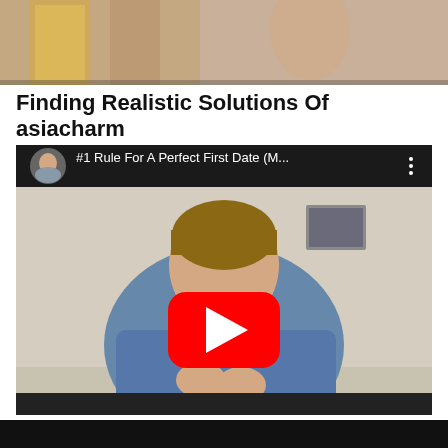[Figure (photo): Partial photo at top of page showing drinks (beer glass) and people, cropped at bottom]
Finding Realistic Solutions Of asiacharm
[Figure (screenshot): YouTube video embed thumbnail showing a man in a blue t-shirt with hands clasped, with YouTube play button overlay. Video title reads '#1 Rule For A Perfect First Date (M...' with channel avatar icon and three-dot menu.]
[Figure (photo): Black bar at bottom of page, partial content cut off]